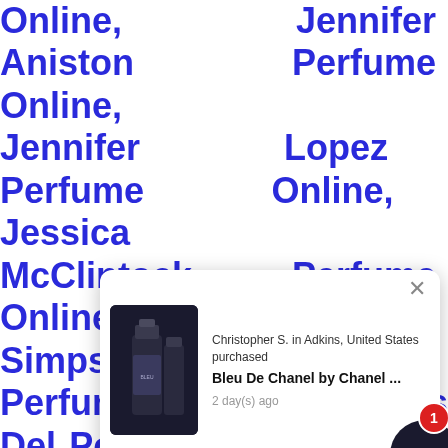Online, Jennifer Aniston Perfume Online, Jennifer Lopez Perfume Online, Jessica McClintock Perfume Online, Jessica Simpson Perfume Online, Jesus Del Pozo Perfume Online, Jil Sander Perfume Online, Jimmy Choo Perfume Online, Jo Malone Perfume Online, Jo Milano Perfume Online, Joan Vass Perfume Online, Jockey International Perfume Online, Joe Sorrento Perfume Online, Joe Winn Perfume Online, Joeroboam Perfume Online, Johan B Perfu [popup obscured] nline, Jojo [obscured] me Online, [obscured] eph Jivago Perfume Online, Joseph Prive Perfume Online, [obscured] Perfume Online, [obscured] Perfu
[Figure (screenshot): A popup notification overlay showing: close button (x), an image of a dark perfume bottle on dark background, text 'Christopher S. in Adkins, United States purchased', product name 'Bleu De Chanel by Chanel ...', timestamp '2 day(s) ago', a red notification badge with '1', and a dark circular element partially visible at bottom right.]